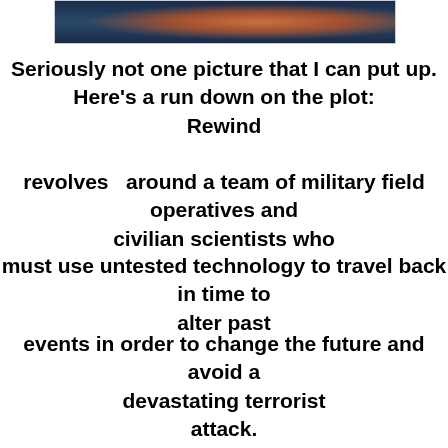[Figure (photo): Partial image at top of page showing what appears to be food on a dark surface with blue tones]
Seriously not one picture that I can put up.
Here's a run down on the plot:
Rewind
revolves   around a team of military field operatives and civilian scientists who
must use untested technology to travel back in time to alter past
events in order to change the future and avoid a devastating terrorist
attack.
The show starts of with an Atomic explosion in New York City and the effects it has across the world. Nine million people are dead in the wake of this event. The action is very tight and for a television plot its well